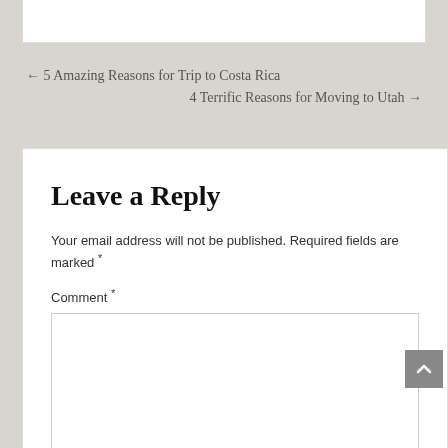← 5 Amazing Reasons for Trip to Costa Rica
4 Terrific Reasons for Moving to Utah →
Leave a Reply
Your email address will not be published. Required fields are marked *
Comment *